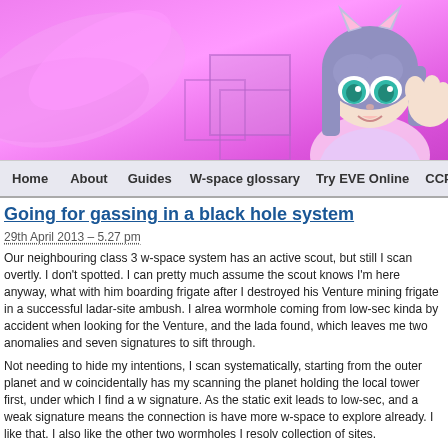[Figure (illustration): Pink/purple anime-style banner with a blue-haired anime girl character on the right side and geometric square outlines in the center]
Home   About   Guides   W-space glossary   Try EVE Online   CCP
Going for gassing in a black hole system
29th April 2013 – 5.27 pm
Our neighbouring class 3 w-space system has an active scout, but still I scan overtly. I don't spotted. I can pretty much assume the scout knows I'm here anyway, what with him boarding frigate after I destroyed his Venture mining frigate in a successful ladar-site ambush. I alrea wormhole coming from low-sec kinda by accident when looking for the Venture, and the lada found, which leaves me two anomalies and seven signatures to sift through.
Not needing to hide my intentions, I scan systematically, starting from the outer planet and w coincidentally has my scanning the planet holding the local tower first, under which I find a w signature. As the static exit leads to low-sec, and a weak signature means the connection is have more w-space to explore already. I like that. I also like the other two wormholes I resolv collection of sites.
I don't know why this pilot was sucking gas in such a connected system, but maybe he thou increased warp core strength of the Venture would keep him safe. I wonder what he thinks a Personally, I think the ship means little compared to the vigilance of the pilot, and it's the vigi aspect to maintain. It only takes a few 'it hasn't happened so far' instances of constant vigilan complacency. I know, because I'm guilty of it too.